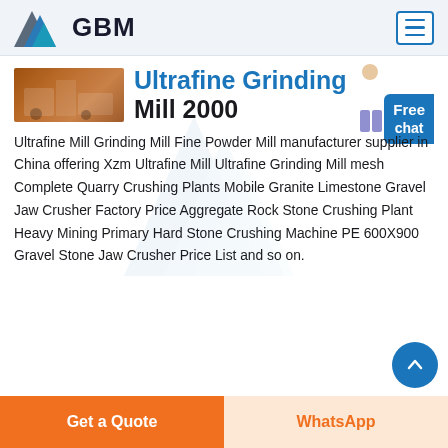GBM
Ultrafine Grinding Mill 2000
Ultrafine Mill Grinding Mill Fine Powder Mill manufacturer supplier in China offering Xzm Ultrafine Mill Ultrafine Grinding Mill mesh Complete Quarry Crushing Plants Mobile Granite Limestone Gravel Jaw Crusher Factory Price Aggregate Rock Stone Crushing Plant Heavy Mining Primary Hard Stone Crushing Machine PE 600X900 Gravel Stone Jaw Crusher Price List and so on.
Get a Quote
WhatsApp